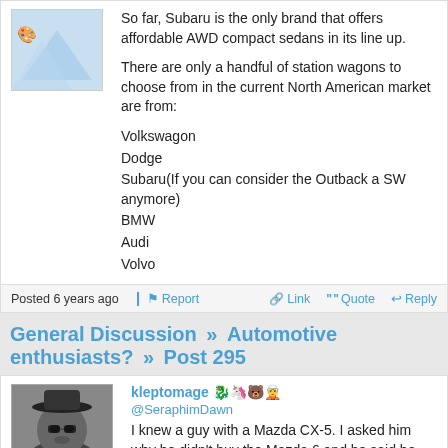So far, Subaru is the only brand that offers affordable AWD compact sedans in its line up.

There are only a handful of station wagons to choose from in the current North American market are from:
Volkswagon
Dodge
Subaru(If you can consider the Outback a SW anymore)
BMW
Audi
Volvo
Posted 6 years ago   Report   Link   Quote   Reply
General Discussion » Automotive enthusiasts? » Post 295
kleptomage
@SeraphimDawn
I knew a guy with a Mazda CX-5. I asked him why he didn't buy the Mazda 6 and he said he needed space to...